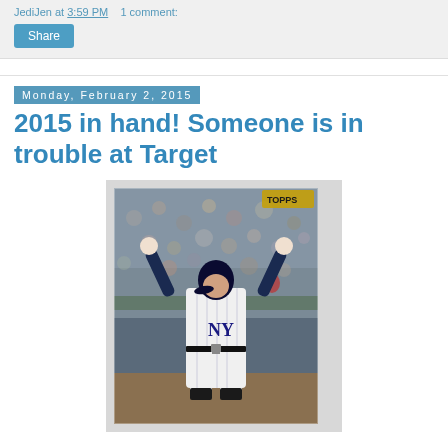JediJen at 3:59 PM    1 comment:
Share
Monday, February 2, 2015
2015 in hand! Someone is in trouble at Target
[Figure (photo): A Topps baseball card showing a New York Yankees player in a pinstripe uniform with arms raised in celebration, crowd visible in the background.]